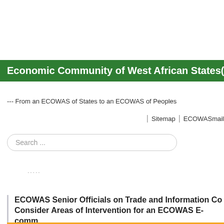Economic Community of West African States(ECOWAS)
--- From an ECOWAS of States to an ECOWAS of Peoples
Sitemap | ECOWASmail
Search ...
.....
ECOWAS Senior Officials on Trade and Information Co... Consider Areas of Intervention for an ECOWAS E-comm...